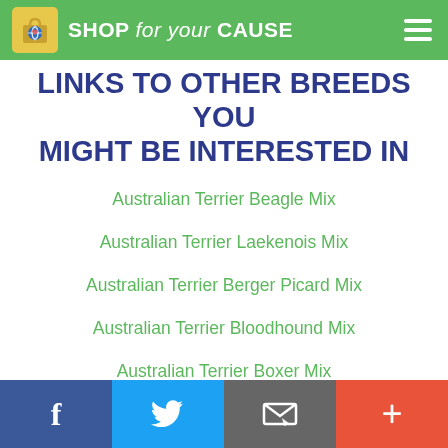SHOP for your CAUSE
LINKS TO OTHER BREEDS YOU MIGHT BE INTERESTED IN
Australian Terrier Beagle Mix
Australian Terrier Laekenois Mix
Australian Terrier Berger Picard Mix
Australian Terrier Bloodhound Mix
Australian Terrier Boxer Mix
f  Twitter  Email  +